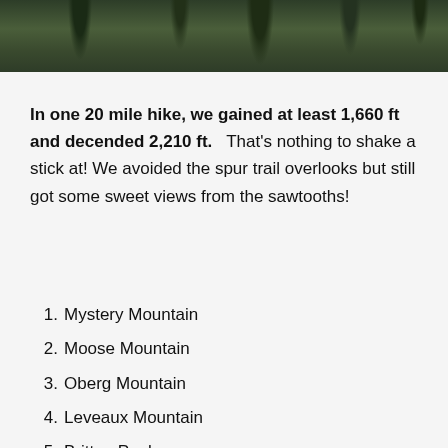[Figure (photo): Partial view of a forest or wooded area, showing tree trunks and dense green foliage, appears to be a nature/hiking photo cropped at top of page.]
In one 20 mile hike, we gained at least 1,660 ft and decended 2,210 ft.   That's nothing to shake a stick at!  We avoided the spur trail overlooks but still got some sweet views from the sawtooths!
1. Mystery Mountain
2. Moose Mountain
3. Oberg Mountain
4. Leveaux Mountain
5. Britton Peak
6. Carlton Peak